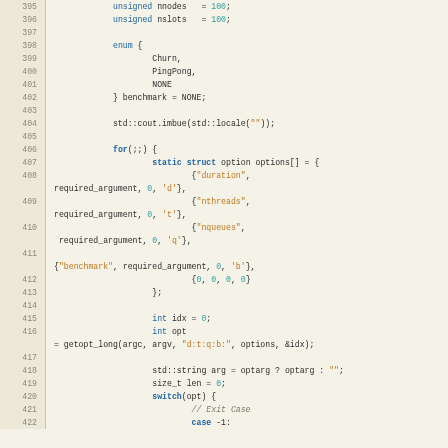[Figure (screenshot): Source code listing in C++ with syntax highlighting, showing lines 395-422. Code includes variable declarations, enum definition, for loop with option parsing using getopt_long, and a switch statement.]